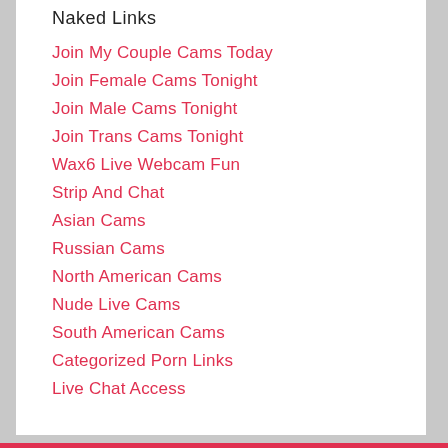Naked Links
Join My Couple Cams Today
Join Female Cams Tonight
Join Male Cams Tonight
Join Trans Cams Tonight
Wax6 Live Webcam Fun
Strip And Chat
Asian Cams
Russian Cams
North American Cams
Nude Live Cams
South American Cams
Categorized Porn Links
Live Chat Access